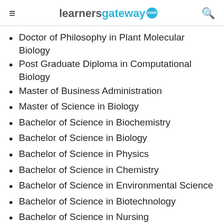learnersgateway.com
Doctor of Philosophy in Plant Molecular Biology
Post Graduate Diploma in Computational Biology
Master of Business Administration
Master of Science in Biology
Bachelor of Science in Biochemistry
Bachelor of Science in Biology
Bachelor of Science in Physics
Bachelor of Science in Chemistry
Bachelor of Science in Environmental Science
Bachelor of Science in Biotechnology
Bachelor of Science in Nursing
Bachelor of Science in Computer Science (partial)